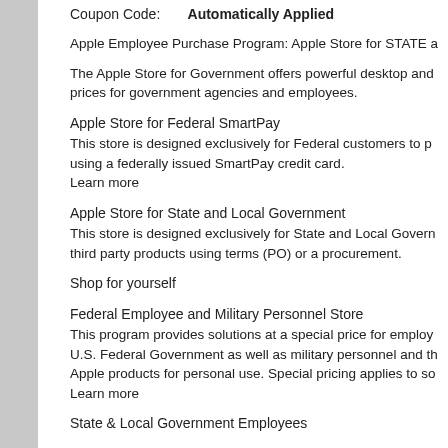Coupon Code:        Automatically Applied
Apple Employee Purchase Program: Apple Store for STATE a
The Apple Store for Government offers powerful desktop and prices for government agencies and employees.
Apple Store for Federal SmartPay
This store is designed exclusively for Federal customers to purchase using a federally issued SmartPay credit card.
Learn more
Apple Store for State and Local Government
This store is designed exclusively for State and Local Government third party products using terms (PO) or a procurement.
Shop for yourself
Federal Employee and Military Personnel Store
This program provides solutions at a special price for employees of the U.S. Federal Government as well as military personnel and their Apple products for personal use. Special pricing applies to some
Learn more
State & Local Government Employees